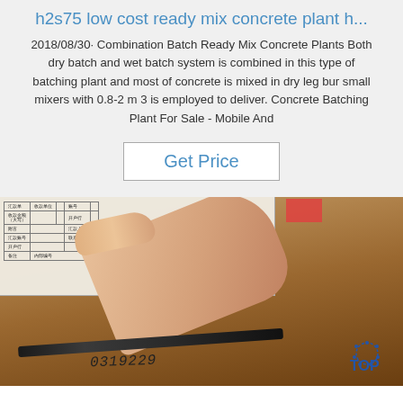h2s75 low cost ready mix concrete plant h...
2018/08/30· Combination Batch Ready Mix Concrete Plants Both dry batch and wet batch system is combined in this type of batching plant and most of concrete is mixed in dry leg bur small mixers with 0.8-2 m 3 is employed to deliver. Concrete Batching Plant For Sale - Mobile And
Get Price
[Figure (photo): A hand/finger pointing at a document with a table containing Chinese characters. A red stamp is visible in the top right of the document. A pen/pencil lies across the bottom. A 'TOP' logo with dotted circle appears in the bottom right. A handwritten number '0319229' is visible at the bottom.]